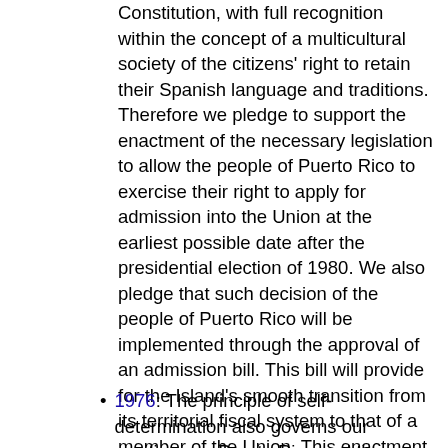Constitution, with full recognition within the concept of a multicultural society of the citizens' right to retain their Spanish language and traditions. Therefore we pledge to support the enactment of the necessary legislation to allow the people of Puerto Rico to exercise their right to apply for admission into the Union at the earliest possible date after the presidential election of 1980. We also pledge that such decision of the people of Puerto Rico will be implemented through the approval of an admission bill. This bill will provide for the Island's smooth transition from its territorial fiscal system to that of a member of the Union. This enactment will enable the new state of Puerto Rico to stand economically on an equal footing with the rest of the states and to assume gradually its fiscal responsibilities as a state.
1976: The principle of self-determination also governs our positions on Puerto Rico and the District of Columbia as it has in past platforms